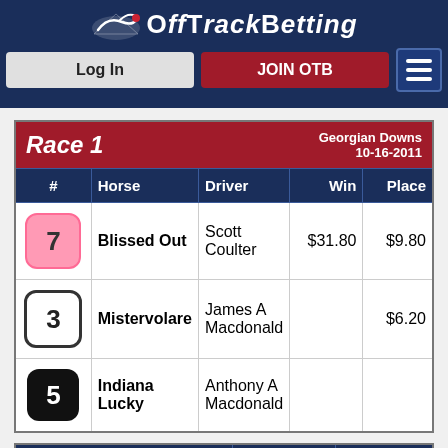OffTrackBetting — Log In | JOIN OTB
| # | Horse | Driver | Win | Place |
| --- | --- | --- | --- | --- |
| 7 | Blissed Out | Scott Coulter | $31.80 | $9.80 |
| 3 | Mistervolare | James A Macdonald |  | $6.20 |
| 5 | Indiana Lucky | Anthony A Macdonald |  |  |
| Bet Type | Runners | Pay Out |
| --- | --- | --- |